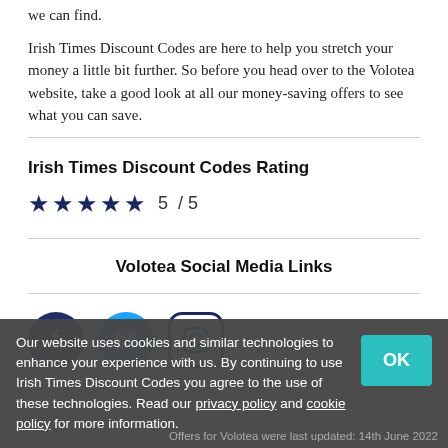we can find.
Irish Times Discount Codes are here to help you stretch your money a little bit further. So before you head over to the Volotea website, take a good look at all our money-saving offers to see what you can save.
Irish Times Discount Codes Rating
[Figure (other): Five dark navy star icons representing a 5/5 rating]
5 / 5
Volotea Social Media Links
[Figure (other): Three social media icons: Facebook (dark navy circle with f), Twitter (blue circle with bird), Instagram (navy rounded square with camera outline)]
Our website uses cookies and similar technologies to enhance your experience with us. By continuing to use Irish Times Discount Codes you agree to the use of these technologies. Read our privacy policy and cookie policy for more information.
Offers for Volotea were last updated: 14th June 2022